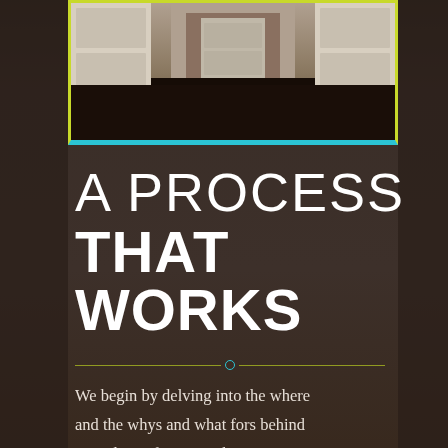[Figure (photo): Interior hallway with white painted cabinets and dark hardwood floors, viewed from a doorway perspective]
A PROCESS THAT WORKS
We begin by delving into the where and the whys and what fors behind your desire for new cabinets.